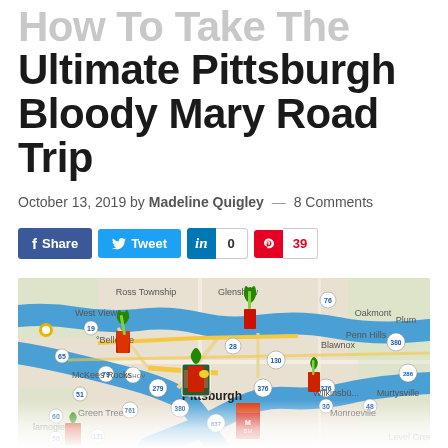How To Take The Ultimate Pittsburgh Bloody Mary Road Trip
October 13, 2019 by Madeline Quigley — 8 Comments
[Figure (infographic): Social sharing buttons: Facebook Share, Twitter Tweet, LinkedIn (0), Pinterest (39)]
[Figure (map): Google Maps view of Pittsburgh and surrounding areas showing Bloody Mary locations marked with cocktail glass icons along the rivers. Locations visible include Bellevue, McKees Rocks, Pittsburgh, Wilkinsburg, Penn Hills, Blawnox, Oakmont, Ross Township, Glenshaw, West View, Plum, Murrysville, Monroeville, Green Tree, Carnegie, and others.]